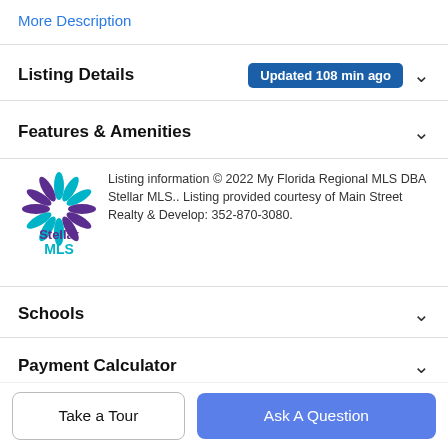More Description
Listing Details  Updated 108 min ago
Features & Amenities
Listing information © 2022 My Florida Regional MLS DBA Stellar MLS.. Listing provided courtesy of Main Street Realty & Develop: 352-870-3080.
Schools
Payment Calculator
Contact Agent
Take a Tour
Ask A Question